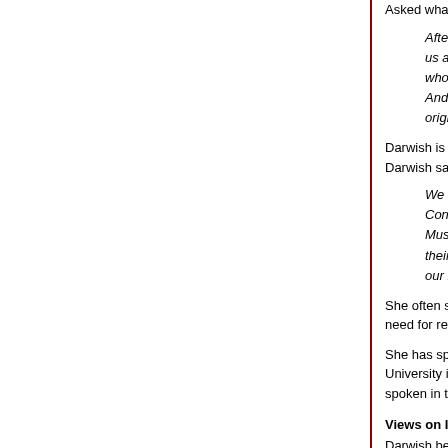Asked what can be done to encourage more moderate M
After 9/11 very few Americans of Arab and Muslim us and intimidate American campuses who invite u who are speaking out against terrorism are not the And what the West must do is ask the politically inc origin owe them honest answers.
Darwish is the current Director of Former Muslims United Darwish said:
We send this letter to you to be received by Septe Congress passed the Bill of Rights. This is a fitting Muslims United, we now pledge our lives, our fortu their unalienable rights to life, liberty and the pursu our right to freedom from Shariah. We urge you to
She often says, “Just because I am pro-Israel does not m need for reformation which must come from within”.
She has spoken on numerous college campuses includi University in Jerusalem, Oxford, Cornell, UCLA, NYU, Vi spoken in the United States Congress, the House of Lord
Views on Islam
Darwish believes Islam is an authoritarian ideology that is century culture of the Arabian Peninsula. She writes that contained. She remarks that it is hard to “comprehend th